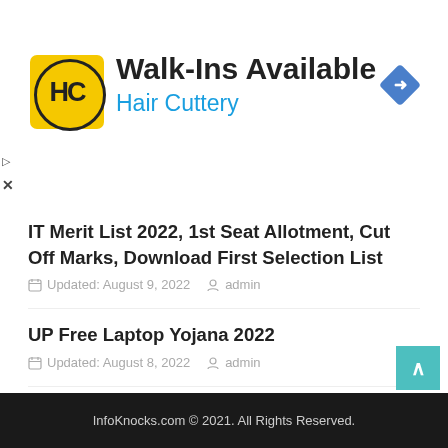[Figure (infographic): Advertisement banner for Hair Cuttery showing logo, Walk-Ins Available text, Hair Cuttery subtitle, and a blue navigation diamond icon]
IT Merit List 2022, 1st Seat Allotment, Cut Off Marks, Download First Selection List
Updated: August 9, 2022   admin
UP Free Laptop Yojana 2022
Updated: August 8, 2022   admin
Pandya Store
August 5, 2022   admin
InfoKnocks.com © 2021. All Rights Reserved.